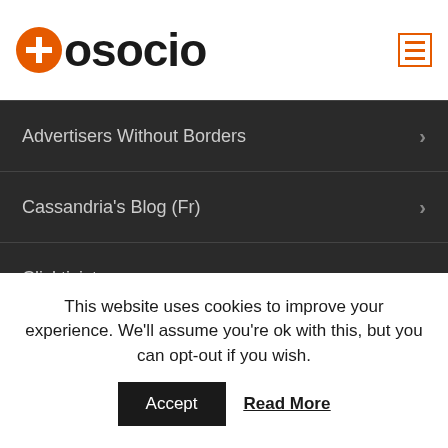aosocio
Advertisers Without Borders
Cassandria's Blog (Fr)
Clicktivist
Comunicação de Interesse Público (Bra)
Comunicazione Sociale (It)
Creative Advertisements for NGO
This website uses cookies to improve your experience. We'll assume you're ok with this, but you can opt-out if you wish.